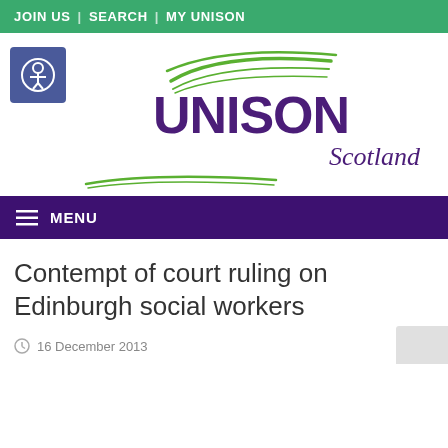JOIN US | SEARCH | MY UNISON
[Figure (logo): UNISON Scotland logo with green swoosh graphic above purple UNISON text and italic Scotland text]
MENU
Contempt of court ruling on Edinburgh social workers
16 December 2013